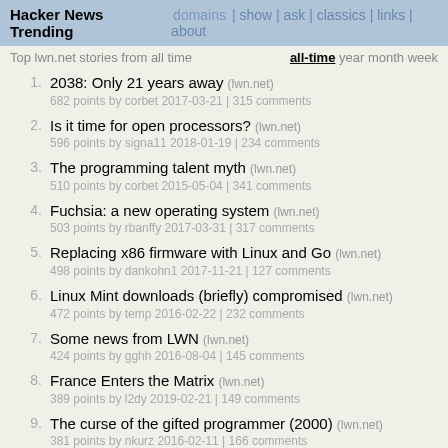Hacker News Trending  domains | show | ask | classics | links | about
Top lwn.net stories from all time    all-time year month week
1. 2038: Only 21 years away (lwn.net)
682 points by corbet 2017-03-21 | 315 comments
2. Is it time for open processors? (lwn.net)
596 points by signa11 2018-01-19 | 234 comments
3. The programming talent myth (lwn.net)
510 points by corbet 2015-05-04 | 341 comments
4. Fuchsia: a new operating system (lwn.net)
503 points by rbanffy 2017-03-31 | 317 comments
5. Replacing x86 firmware with Linux and Go (lwn.net)
498 points by dankohn1 2017-11-21 | 127 comments
6. Linux Mint downloads (briefly) compromised (lwn.net)
472 points by temp 2016-02-22 | 232 comments
7. Some news from LWN (lwn.net)
424 points by gghh 2016-08-04 | 145 comments
8. France Enters the Matrix (lwn.net)
389 points by l2dy 2019-02-21 | 149 comments
9. The curse of the gifted programmer (2000) (lwn.net)
381 points by nkurz 2016-02-11 | 166 comments
10. What's a CPU to do when it has nothing to do? (lwn.net)
367 points by reddotX 2018-10-10 | 136 comments
11. Wireshark 2.0: Now with Qt (lwn.net)
354 points by signa11 2015-12-18 | 149 comments
12. Killing processes that don't want to die (lwn.net)
354 points by ingve 2019-09-24 | 199 comments